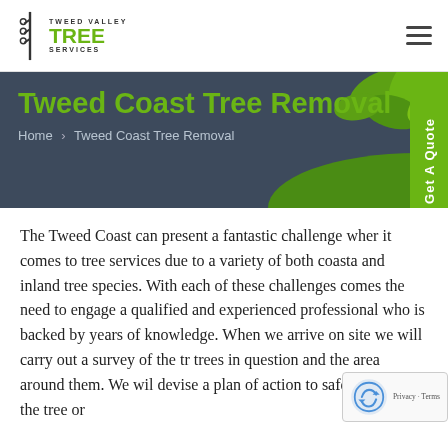[Figure (logo): Tweed Valley Tree Services logo with tree icon and green text]
Tweed Coast Tree Removal
Home > Tweed Coast Tree Removal
The Tweed Coast can present a fantastic challenge when it comes to tree services due to a variety of both coastal and inland tree species. With each of these challenges comes the need to engage a qualified and experienced professional who is backed by years of knowledge. When we arrive on site we will carry out a survey of the trees in question and the area around them. We will devise a plan of action to safely remove the tree or
[Figure (other): Get A Quote vertical tab on right side]
[Figure (other): reCAPTCHA badge bottom right]